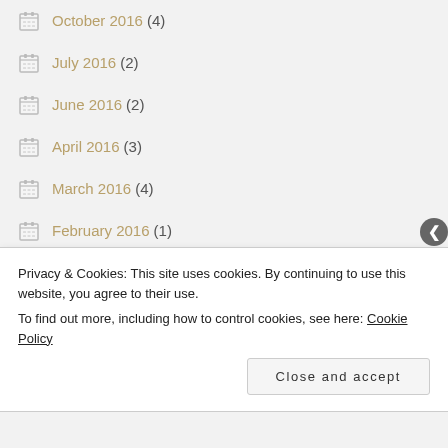October 2016 (4)
July 2016 (2)
June 2016 (2)
April 2016 (3)
March 2016 (4)
February 2016 (1)
January 2016 (5)
December 2015 (1)
July 2015 (3)
June 2015 (2)
Privacy & Cookies: This site uses cookies. By continuing to use this website, you agree to their use. To find out more, including how to control cookies, see here: Cookie Policy
Close and accept